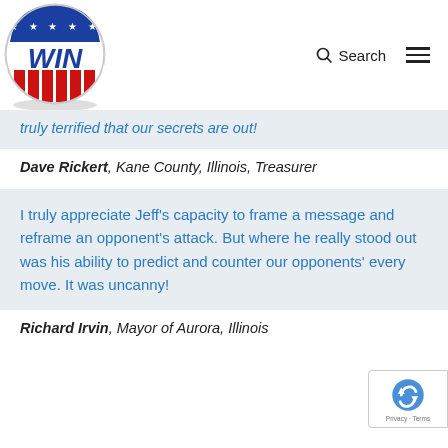[Figure (logo): WIN campaign button logo — circular badge with blue top section with white stars, bold blue WIN text on white, and red vertical stripes at bottom]
truly terrified that our secrets are out!
Dave Rickert, Kane County, Illinois, Treasurer
I truly appreciate Jeff's capacity to frame a message and reframe an opponent's attack. But where he really stood out was his ability to predict and counter our opponents' every move. It was uncanny!
Richard Irvin, Mayor of Aurora, Illinois